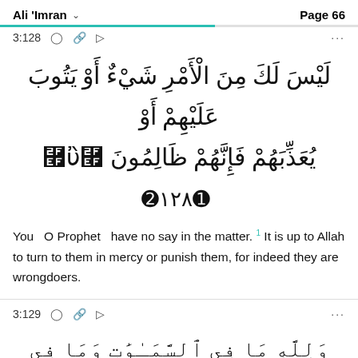Ali 'Imran  Page 66
3:128
لَيْسَ لَكَ مِنَ الْأَمْرِ شَيْءٌ أَوْ يَتُوبَ عَلَيْهِمْ أَوْ يُعَذِّبَهُمْ فَإِنَّهُمْ ظَالِمُونَ ۝١٢٨
You  O Prophet  have no say in the matter. It is up to Allah to turn to them in mercy or punish them, for indeed they are wrongdoers.
3:129